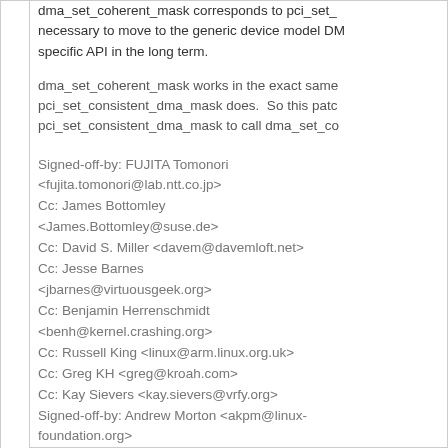dma_set_coherent_mask corresponds to pci_set_consistent_dma_mask, it is necessary to move to the generic device model DMA API instead of the PCI-specific API in the long term.

dma_set_coherent_mask works in the exact same way as pci_set_consistent_dma_mask does. So this patch changes pci_set_consistent_dma_mask to call dma_set_co...
Signed-off-by: FUJITA Tomonori <fujita.tomonori@lab.ntt.co.jp>
Cc: James Bottomley <James.Bottomley@suse.de>
Cc: David S. Miller <davem@davemloft.net>
Cc: Jesse Barnes <jbarnes@virtuousgeek.org>
Cc: Benjamin Herrenschmidt <benh@kernel.crashing.org>
Cc: Russell King <linux@arm.linux.org.uk>
Cc: Greg KH <greg@kroah.com>
Cc: Kay Sievers <kay.sievers@vrfy.org>
Signed-off-by: Andrew Morton <akpm@linux-foundation.org>
Signed-off-by: Linus Torvalds <torvalds@linux-foundation.org>
12 years ago   dma-mapping: pci: convert pci_set_dma_mask to call dma_set_mask
commit | commitdiff | tree   FUJITA Tomonori [Wed, 10 Mar 2010 23:23:38 +0000 (15:23 -0800)]